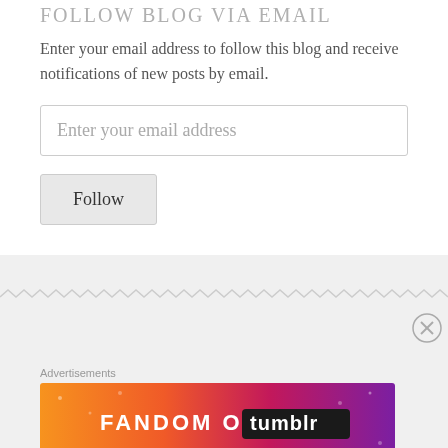FOLLOW BLOG VIA EMAIL
Enter your email address to follow this blog and receive notifications of new posts by email.
Enter your email address
Follow
[Figure (other): Zigzag/wavy decorative divider line in light gray]
[Figure (other): Close button (X in circle) in bottom right area]
Advertisements
[Figure (other): Fandom on Tumblr advertisement banner with colorful gradient background from orange to purple with white illustrated doodles and bold text reading FANDOM ON tumblr]